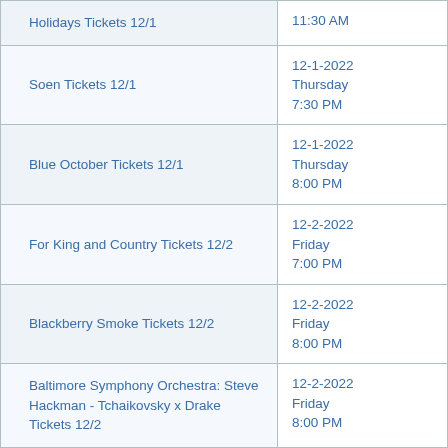| Event | Date/Time |
| --- | --- |
| Holidays Tickets 12/1 | 11:30 AM |
| Soen Tickets 12/1 | 12-1-2022
Thursday
7:30 PM |
| Blue October Tickets 12/1 | 12-1-2022
Thursday
8:00 PM |
| For King and Country Tickets 12/2 | 12-2-2022
Friday
7:00 PM |
| Blackberry Smoke Tickets 12/2 | 12-2-2022
Friday
8:00 PM |
| Baltimore Symphony Orchestra: Steve Hackman - Tchaikovsky x Drake Tickets 12/2 | 12-2-2022
Friday
8:00 PM |
| Baltimore Symphony Orchestra: Jonathan Rush - A Spirit for the Holidays Tickets 12/3 | 12-3-2022
Saturday
11:00 AM |
| Dar Williams & Jesse Terry Tickets 12/3 | 12-3-2022
Saturday |